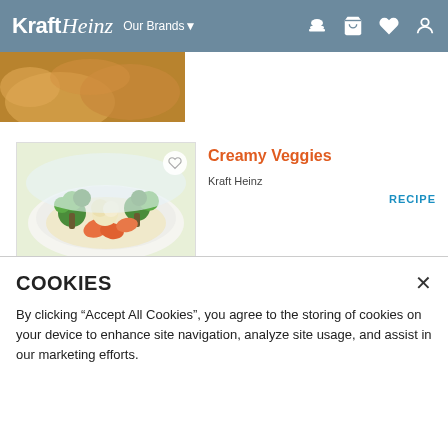Kraft Heinz  Our Brands ▾
[Figure (photo): Cropped food photo at top of page, showing baked/golden food items]
[Figure (photo): Photo of Creamy Veggies dish: broccoli, carrots, cauliflower in creamy sauce on white plate]
Creamy Veggies
Kraft Heinz
RECIPE
VIEW MORE
COOKIES
By clicking "Accept All Cookies", you agree to the storing of cookies on your device to enhance site navigation, analyze site usage, and assist in our marketing efforts.